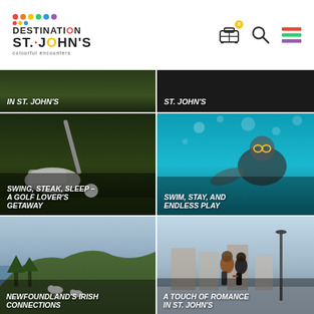[Figure (logo): Destination St. John's colourful encounters logo with coloured dots]
[Figure (infographic): Navigation bar with luggage bag icon (badge 0), search magnifier icon, and hamburger menu icon]
[Figure (photo): Partial card top-left: dark green background with white text 'IN ST. JOHN'S']
[Figure (photo): Partial card top-right: dark background with white text 'ST. JOHN'S']
[Figure (photo): Golf shoe and ball on green with text 'SWING, STEAK, SLEEP – A GOLF LOVER'S GETAWAY']
[Figure (photo): Underwater swimmer in blue water with text 'SWIM, STAY, AND ENDLESS PLAY']
[Figure (photo): Coastal landscape with sheep and hills, text 'NEWFOUNDLAND'S IRISH CONNECTIONS']
[Figure (photo): Couple holding hands on winter street, text 'A TOUCH OF ROMANCE IN ST. JOHN'S']